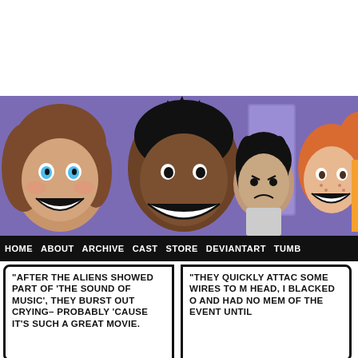[Figure (illustration): Webcomic banner image showing four cartoon characters: a girl with blue eyes and brown hair, a dark-skinned boy with black hair smiling widely, a dark-haired girl looking annoyed in the background, and a redheaded girl with freckles smiling. Purple locker background.]
[Figure (screenshot): Navigation bar with dark background showing menu items: HOME, ABOUT, ARCHIVE, CAST, STORE, DEVIANTART, TUMBL (partially visible)]
"AFTER THE ALIENS SHOWED PART OF 'THE SOUND OF MUSIC', THEY BURST OUT CRYING- PROBABLY 'CAUSE IT'S SUCH A GREAT MOVIE.
"THEY QUICKLY ATTAC SOME WIRES TO M HEAD, I BLACKED O AND HAD NO MEM OF THE EVENT UNTIL